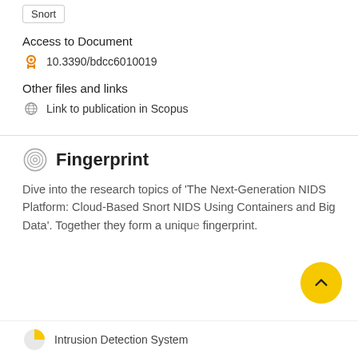Snort
Access to Document
10.3390/bdcc6010019
Other files and links
Link to publication in Scopus
Fingerprint
Dive into the research topics of 'The Next-Generation NIDS Platform: Cloud-Based Snort NIDS Using Containers and Big Data'. Together they form a unique fingerprint.
Intrusion Detection System